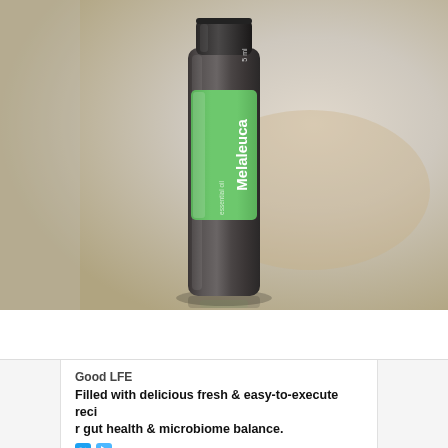[Figure (photo): A small dark glass bottle of doTERRA Melaleuca (Tea Tree) essential oil, 5ml, sitting on a light beige/grey surface. The bottle has a green label reading 'Melaleuca' in white text. The background is soft and blurred.]
1. R...
Good LFE
Filled with delicious fresh & easy-to-execute reci
r gut health & microbiome balance.